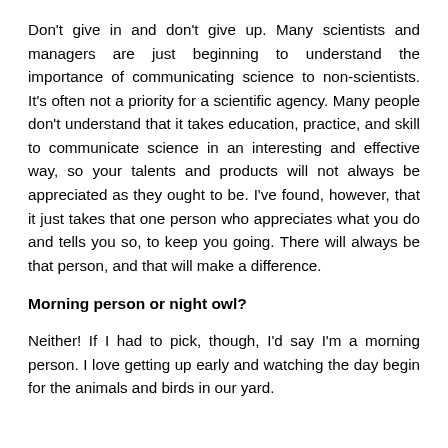Don't give in and don't give up. Many scientists and managers are just beginning to understand the importance of communicating science to non-scientists. It's often not a priority for a scientific agency. Many people don't understand that it takes education, practice, and skill to communicate science in an interesting and effective way, so your talents and products will not always be appreciated as they ought to be. I've found, however, that it just takes that one person who appreciates what you do and tells you so, to keep you going. There will always be that person, and that will make a difference.
Morning person or night owl?
Neither! If I had to pick, though, I'd say I'm a morning person. I love getting up early and watching the day begin for the animals and birds in our yard.